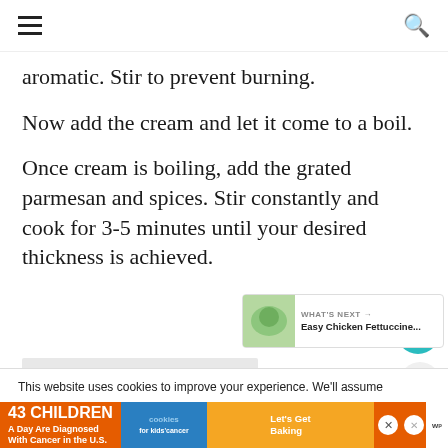≡  [search icon]
aromatic. Stir to prevent burning.
Now add the cream and let it come to a boil.
Once cream is boiling, add the grated parmesan and spices. Stir constantly and cook for 3-5 minutes until your desired thickness is achieved.
[Figure (screenshot): Gray placeholder box for an embedded image]
[Figure (screenshot): What's Next widget showing Easy Chicken Fettuccine with a small food thumbnail]
This website uses cookies to improve your experience. We'll assume
[Figure (screenshot): Advertisement banner: 43 CHILDREN A Day Are Diagnosed With Cancer in the U.S. / cookies for kids cancer / Let's Get Baking with close button and logo]